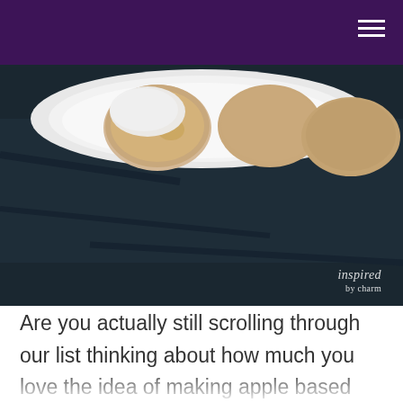[Figure (photo): Close-up photo of round cookies in a white bowl on a dark surface. Watermark reads 'inspired by charm' in bottom right corner.]
Are you actually still scrolling through our list thinking about how much you love the idea of making apple based cookies but the previous idea we showed you just didn't quite have you convinced? Then perhaps you'll have a little more luck taking a look at this recipe and tutorial from Inspired by